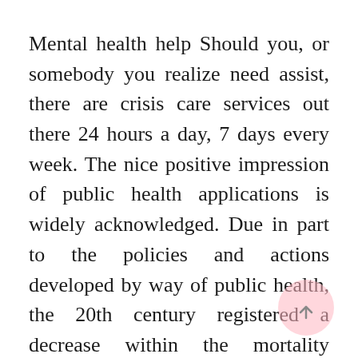Mental health help Should you, or somebody you realize need assist, there are crisis care services out there 24 hours a day, 7 days every week. The nice positive impression of public health applications is widely acknowledged. Due in part to the policies and actions developed by way of public health, the 20th century registered a decrease within the mortality charges for infants and youngsters and a continuing increase in life expectancy in most parts of the world. For example, it is estimated that life expectancy has increased for Americans by thirty years